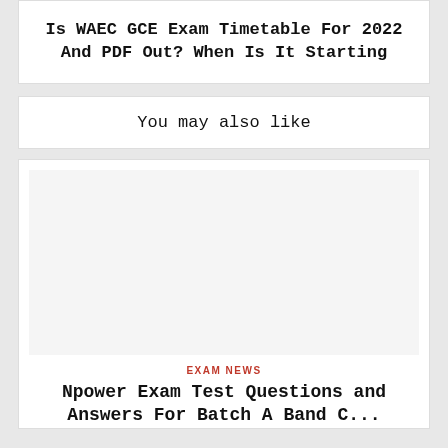Is WAEC GCE Exam Timetable For 2022 And PDF Out? When Is It Starting
You may also like
[Figure (photo): Blank/white placeholder image for an article card]
EXAM NEWS
Npower Exam Test Questions and Answers For Batch A Band C...